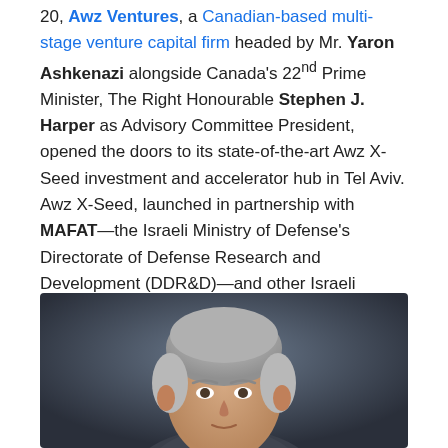20, Awz Ventures, a Canadian-based multi-stage venture capital firm headed by Mr. Yaron Ashkenazi alongside Canada's 22nd Prime Minister, The Right Honourable Stephen J. Harper as Advisory Committee President, opened the doors to its state-of-the-art Awz X-Seed investment and accelerator hub in Tel Aviv. Awz X-Seed, launched in partnership with MAFAT—the Israeli Ministry of Defense's Directorate of Defense Research and Development (DDR&D)—and other Israeli security agencies, will invest in "pre-seed" and "inception" stage companies developing innovative security technologies with significant commercial applications in the civilian sector.
[Figure (photo): Headshot of a middle-aged man with grey hair against a dark grey background, cropped at chest level.]